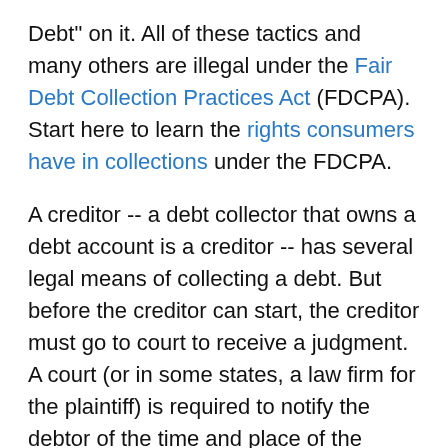Debt" on it. All of these tactics and many others are illegal under the Fair Debt Collection Practices Act (FDCPA). Start here to learn the rights consumers have in collections under the FDCPA.
A creditor -- a debt collector that owns a debt account is a creditor -- has several legal means of collecting a debt. But before the creditor can start, the creditor must go to court to receive a judgment. A court (or in some states, a law firm for the plaintiff) is required to notify the debtor of the time and place of the hearing. This notice is called a "summons to appear" or a "summons and complaint." In some jurisdictions, a process